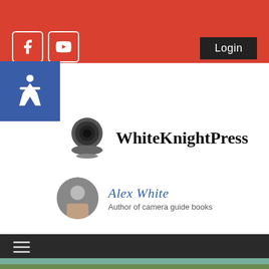WhiteKnightPress website header with red background, social icons, Login button
[Figure (logo): WhiteKnightPress logo - dark camera lens icon on grey base]
WhiteKnightPress
Alex White
Author of camera guide books
[Figure (photo): Outdoor park scene with stone monument/statue, trees, green grass, pathway, cloudy sky]